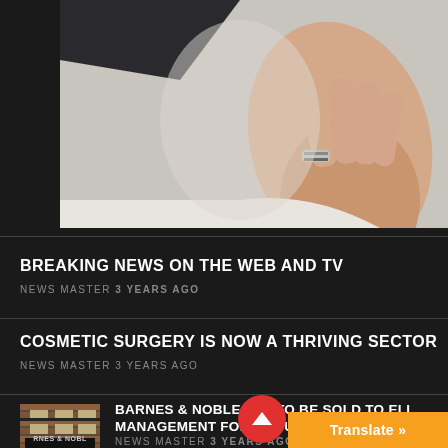[Figure (photo): Close-up photo of a person's hand with a silver ring, against a light grey/white background, wearing dark clothing]
BREAKING NEWS ON THE WEB AND TV
NEWS MASTER 3 YEARS AGO
COSMETIC SURGERY IS NOW A THRIVING SECTOR
NEWS MASTER 3 YEARS AGO
[Figure (photo): Thumbnail photo of Barnes & Noble store exterior with brick facade and signage]
BARNES & NOBLE SET TO BE SOLD TO ELL... MANAGEMENT FOR ABOUT $6...
NEWS MASTER 3 YEARS AGO
Translate »